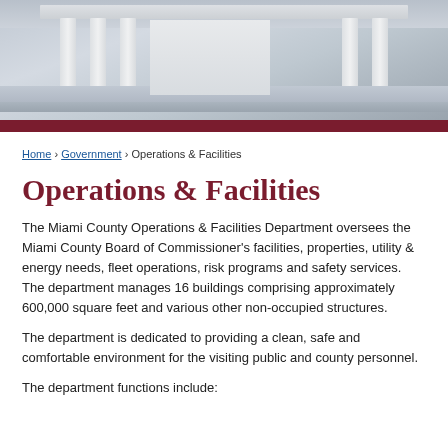[Figure (photo): Photograph of a government building with classical columns and pediment architecture, viewed from below in natural light.]
Home › Government › Operations & Facilities
Operations & Facilities
The Miami County Operations & Facilities Department oversees the Miami County Board of Commissioner's facilities, properties, utility & energy needs, fleet operations, risk programs and safety services. The department manages 16 buildings comprising approximately 600,000 square feet and various other non-occupied structures.
The department is dedicated to providing a clean, safe and comfortable environment for the visiting public and county personnel.
The department functions include: